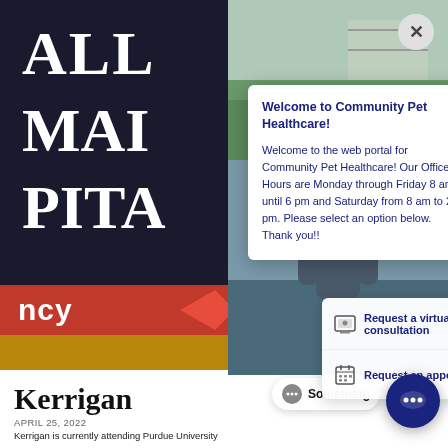[Figure (screenshot): Background photo of animal hospital sign showing partial letters ALL, MAI, PITA on dark background, with red emergency sign, gold stripe, and outdoor greenery/person on right side]
Welcome to Community Pet Healthcare!
Welcome to the web portal for Community Pet Healthcare! Our Office Hours are Monday through Friday 8 am until 6 pm and Saturday from 8 am to 2 pm. Please select an option below. Thank you!!
Request a virtual consultation >
Request an appointment >
Kerrigan
APRIL 25, 2022
Kerrigan is currently attending Purdue University